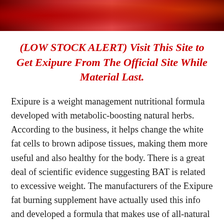[Figure (photo): Red-toned image strip at the top of the page, partially cropped, showing a reddish scene.]
(LOW STOCK ALERT) Visit This Site to Get Exipure From The Official Site While Material Last.
Exipure is a weight management nutritional formula developed with metabolic-boosting natural herbs. According to the business, it helps change the white fat cells to brown adipose tissues, making them more useful and also healthy for the body. There is a great deal of scientific evidence suggesting BAT is related to excessive weight. The manufacturers of the Exipure fat burning supplement have actually used this info and developed a formula that makes use of all-natural components to increase brown adipose